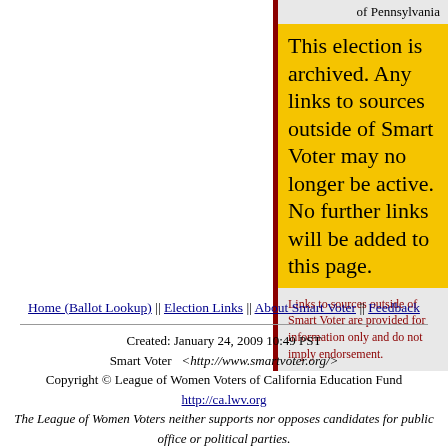of Pennsylvania
This election is archived. Any links to sources outside of Smart Voter may no longer be active. No further links will be added to this page.
Links to sources outside of Smart Voter are provided for information only and do not imply endorsement.
Home (Ballot Lookup) || Election Links || About Smart Voter || Feedback
Created: January 24, 2009 10:49 PST
Smart Voter   <http://www.smartvoter.org/>
Copyright © League of Women Voters of California Education Fund
http://ca.lwv.org
The League of Women Voters neither supports nor opposes candidates for public office or political parties.